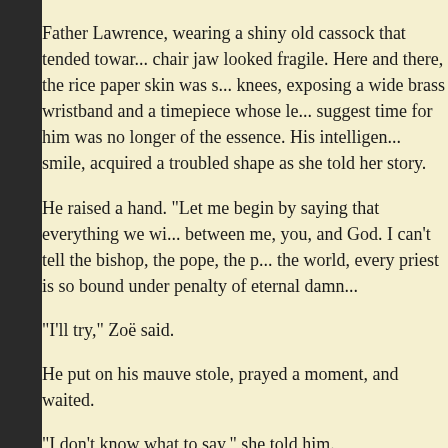Father Lawrence, wearing a shiny old cassock that tended towar... chair jaw looked fragile. Here and there, the rice paper skin was s... knees, exposing a wide brass wristband and a timepiece whose le... suggest time for him was no longer of the essence. His intelligen... smile, acquired a troubled shape as she told her story.
He raised a hand. "Let me begin by saying that everything we wi... between me, you, and God. I can't tell the bishop, the pope, the p... the world, every priest is so bound under penalty of eternal damn...
"I'll try," Zoë said.
He put on his mauve stole, prayed a moment, and waited.
"I don't know what to say," she told him.
"Try."
Haltingly, she recited every indictment she could think of. I have because... She ran out of ideas.
"Is there more?" he gently asked. He had his eyes closed and han...
"I can't think of a thing. Wait." She covered her face with her ha... terrible something. Or someone. And there is a memory that is th... won't let it. I think I murdered someone, or watched someone get...